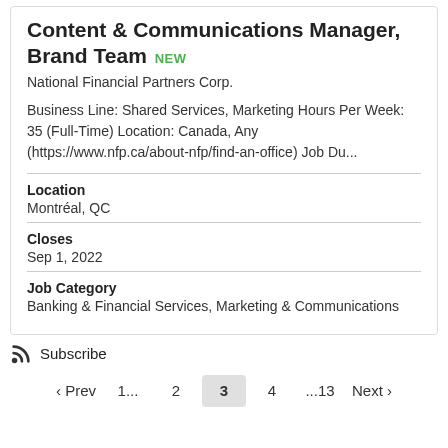Content & Communications Manager, Brand Team NEW
National Financial Partners Corp.
Business Line: Shared Services, Marketing Hours Per Week: 35 (Full-Time) Location: Canada, Any (https://www.nfp.ca/about-nfp/find-an-office) Job Du...
Location
Montréal, QC
Closes
Sep 1, 2022
Job Category
Banking & Financial Services, Marketing & Communications
Subscribe
◁ Prev   1...   2   3   4   ...13   Next ▷